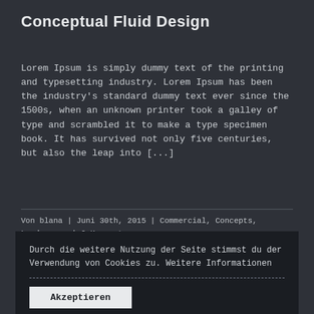Conceptual Fluid Design
Lorem Ipsum is simply dummy text of the printing and typesetting industry. Lorem Ipsum has been the industry's standard dummy text ever since the 1500s, when an unknown printer took a galley of type and scrambled it to make a type specimen book. It has survived not only five centuries, but also the leap into [...]
Von blana | Juni 30th, 2015 | Commercial, Concepts, Landscapes | 0 Kommentare
Weiterlesen []
Durch die weitere Nutzung der Seite stimmst du der Verwendung von Cookies zu. Weitere Informationen
Akzeptieren
Modern Tranqu...
Lorem Ipsum is simply dummy text of the printing and typesetting industry. Lorem Ipsum has been the